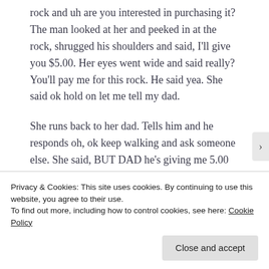rock and uh are you interested in purchasing it? The man looked at her and peeked in at the rock, shrugged his shoulders and said, I'll give you $5.00. Her eyes went wide and said really? You'll pay me for this rock. He said yea. She said ok hold on let me tell my dad.
She runs back to her dad. Tells him and he responds oh, ok keep walking and ask someone else. She said, BUT DAD he's giving me 5.00 for a rock!!!
Privacy & Cookies: This site uses cookies. By continuing to use this website, you agree to their use.
To find out more, including how to control cookies, see here: Cookie Policy
Close and accept